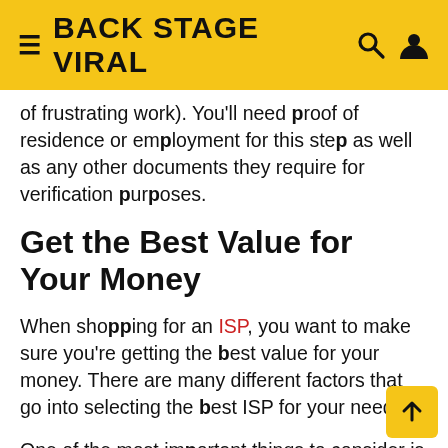BACK STAGE VIRAL
of frustrating work). You'll need proof of residence or employment for this step as well as any other documents they require for verification purposes.
Get the Best Value for Your Money
When shopping for an ISP, you want to make sure you're getting the best value for your money. There are many different factors that go into selecting the best ISP for your needs.
One of the most important things to consider is how much data storage space you need. If you regularly download videos or use large files, then you'll wa to ensure that your provider offers enough data